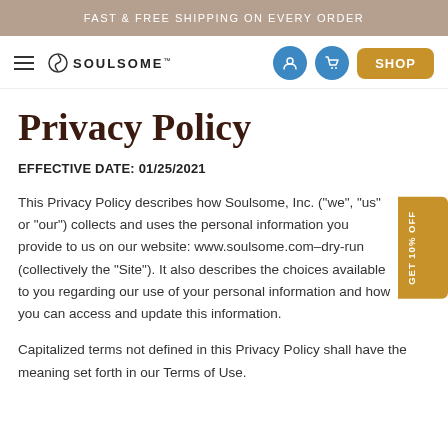FAST & FREE SHIPPING ON EVERY ORDER
Privacy Policy
EFFECTIVE DATE: 01/25/2021
This Privacy Policy describes how Soulsome, Inc. (“we”, “us” or “our”) collects and uses the personal information you provide to us on our website: www.soulsome.com–dry-run (collectively the “Site”). It also describes the choices available to you regarding our use of your personal information and how you can access and update this information.
Capitalized terms not defined in this Privacy Policy shall have the meaning set forth in our Terms of Use.